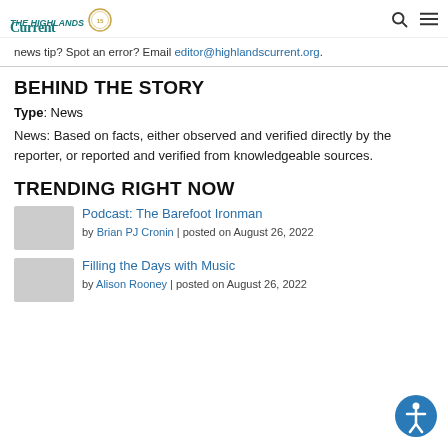The Highlands Current — navigation header with logo, search, and menu icons
news tip? Spot an error? Email editor@highlandscurrent.org.
BEHIND THE STORY
Type: News
News: Based on facts, either observed and verified directly by the reporter, or reported and verified from knowledgeable sources.
TRENDING RIGHT NOW
Podcast: The Barefoot Ironman
by Brian PJ Cronin | posted on August 26, 2022
Filling the Days with Music
by Alison Rooney | posted on August 26, 2022